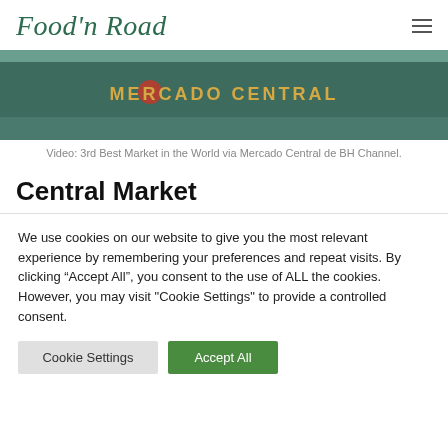Food'n Road
[Figure (photo): Mercado Central sign/banner with teal scalloped awning and yellow text reading MERCADO CENTRAL]
Video: 3rd Best Market in the World via Mercado Central de BH Channel.
Central Market
We use cookies on our website to give you the most relevant experience by remembering your preferences and repeat visits. By clicking “Accept All”, you consent to the use of ALL the cookies. However, you may visit "Cookie Settings" to provide a controlled consent.